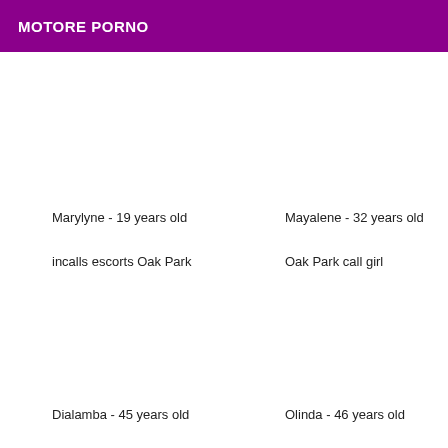MOTORE PORNO
Marylyne - 19 years old
incalls escorts Oak Park
Mayalene - 32 years old
Oak Park call girl
Dialamba - 45 years old
Olinda - 46 years old